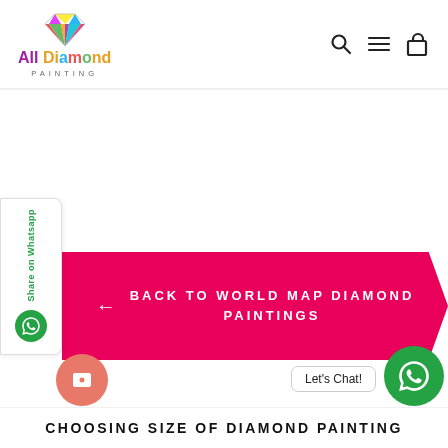[Figure (logo): All Diamond Painting logo with colorful diamond gem icon above text]
[Figure (screenshot): Navigation icons: search magnifier, hamburger menu, and shopping bag]
[Figure (infographic): WhatsApp share sidebar on left edge with green WhatsApp icon]
[Figure (infographic): Pink/magenta banner with back arrow and text BACK TO WORLD MAP DIAMOND PAINTINGS]
[Figure (infographic): Bottom chat widgets: salmon circle button, Let's Chat! bubble, green WhatsApp circle]
CHOOSING SIZE OF DIAMOND PAINTING